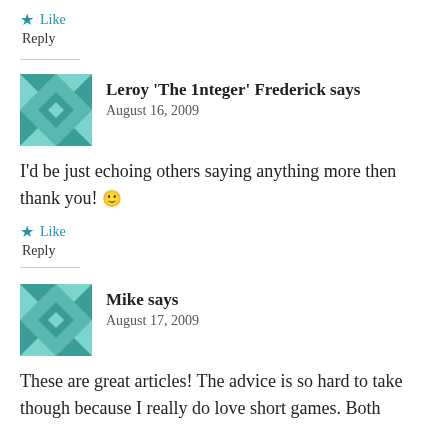★ Like
Reply
Leroy 'The 1nteger' Frederick says
August 16, 2009
I'd be just echoing others saying anything more then thank you! 🙂
★ Like
Reply
Mike says
August 17, 2009
These are great articles! The advice is so hard to take though because I really do love short games. Both